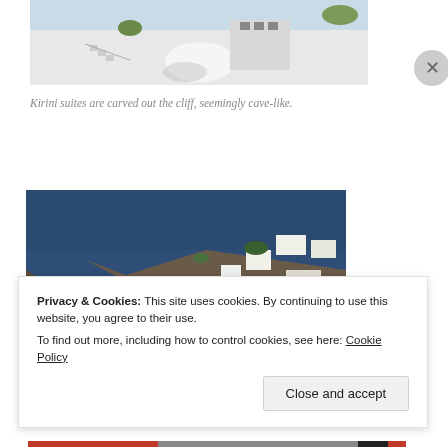[Figure (photo): White Santorini-style architecture with cliff-carved cave-like suites, stairs, railings, and white curved structures]
Kirini suites are carved out the cliff, seemingly cave-like.
[Figure (photo): Cliff-side view of Santorini with deep blue Aegean sea, rocky cliff, and white buildings perched on the edge]
Privacy & Cookies: This site uses cookies. By continuing to use this website, you agree to their use.
To find out more, including how to control cookies, see here: Cookie Policy
Close and accept